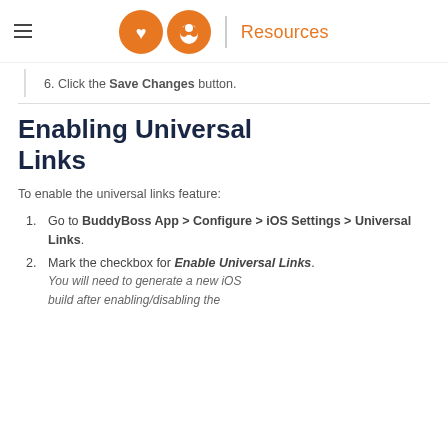Resources
6. Click the Save Changes button.
Enabling Universal Links
To enable the universal links feature:
1. Go to BuddyBoss App > Configure > iOS Settings > Universal Links.
2. Mark the checkbox for Enable Universal Links. You will need to generate a new iOS build after enabling/disabling the